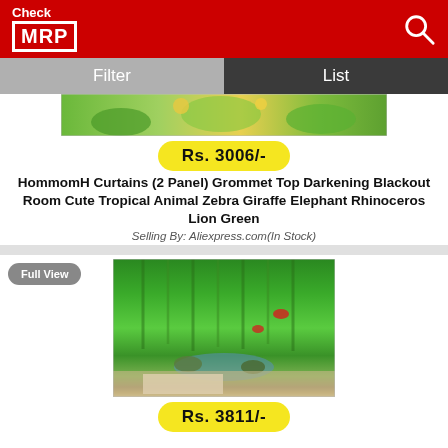Check MRP
[Figure (screenshot): Product listing image showing colorful tropical animal curtains with green jungle theme]
Rs. 3006/-
HommomH Curtains (2 Panel) Grommet Top Darkening Blackout Room Cute Tropical Animal Zebra Giraffe Elephant Rhinoceros Lion Green
Selling By: Aliexpress.com(In Stock)
Full View
[Figure (photo): Room interior with bamboo forest and waterfall printed curtains, green nature scene draped in a living room]
Rs. 3811/-